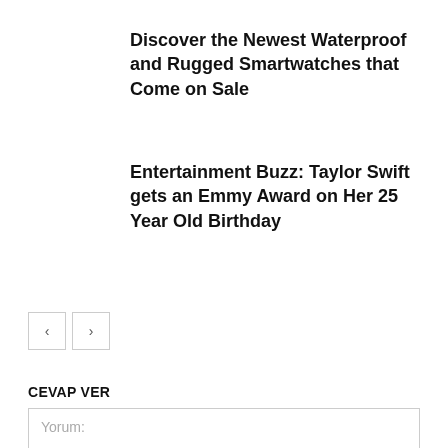Discover the Newest Waterproof and Rugged Smartwatches that Come on Sale
Entertainment Buzz: Taylor Swift gets an Emmy Award on Her 25 Year Old Birthday
CEVAP VER
Yorum: